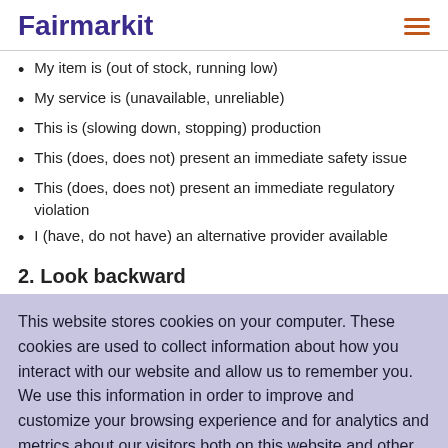Fairmarkit
My item is (out of stock, running low)
My service is (unavailable, unreliable)
This is (slowing down, stopping) production
This (does, does not) present an immediate safety issue
This (does, does not) present an immediate regulatory violation
I (have, do not have) an alternative provider available
2. Look backward
This website stores cookies on your computer. These cookies are used to collect information about how you interact with our website and allow us to remember you. We use this information in order to improve and customize your browsing experience and for analytics and metrics about our visitors both on this website and other media. To find out more about